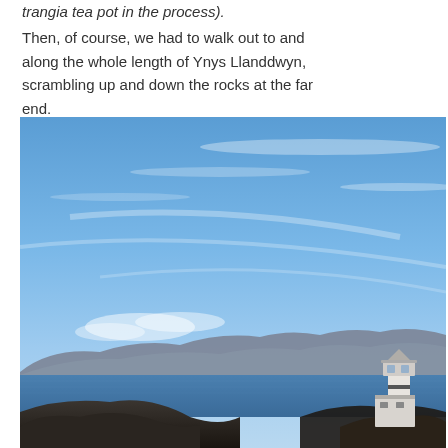trangia tea pot in the process).
Then, of course, we had to walk out to and along the whole length of Ynys Llanddwyn, scrambling up and down the rocks at the far end.
[Figure (photo): Coastal landscape photo showing Ynys Llanddwyn: a wide blue sky with wispy high clouds, dark rocky mountains/hills across the water in the background, a white lighthouse structure in the lower right corner, dark rocky foreground at the bottom, and deep blue sea water.]